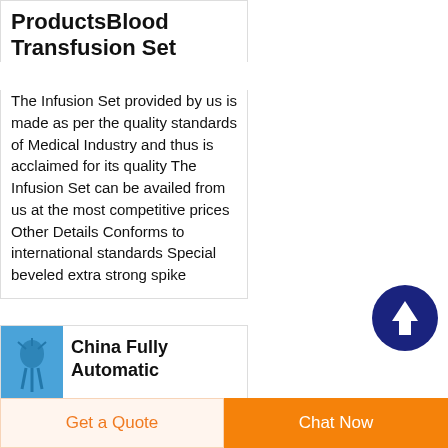ProductsBlood Transfusion Set
The Infusion Set provided by us is made as per the quality standards of Medical Industry and thus is acclaimed for its quality The Infusion Set can be availed from us at the most competitive prices Other Details Conforms to international standards Special beveled extra strong spike
[Figure (logo): Scroll to top button: dark blue circle with white upward arrow]
China Fully Automatic
[Figure (photo): Product thumbnail image on blue background showing a medical device]
Get a Quote
Chat Now